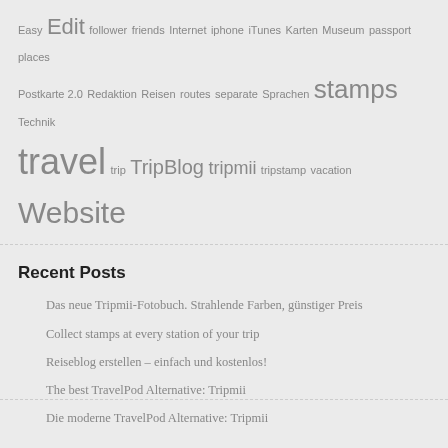Easy Edit follower friends Internet iphone iTunes Karten Museum passport places Postkarte 2.0 Redaktion Reisen routes separate Sprachen stamps Technik travel trip TripBlog tripmii tripstamp vacation Website
Recent Posts
Das neue Tripmii-Fotobuch. Strahlende Farben, günstiger Preis
Collect stamps at every station of your trip
Reiseblog erstellen – einfach und kostenlos!
The best TravelPod Alternative: Tripmii
Die moderne TravelPod Alternative: Tripmii